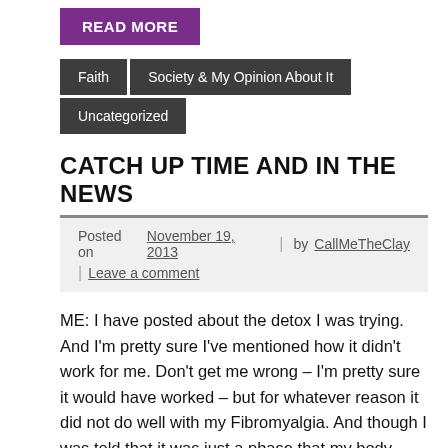READ MORE
Faith | Society & My Opinion About It | Uncategorized
CATCH UP TIME AND IN THE NEWS
Posted on November 19, 2013 | by CallMeTheClay | Leave a comment
ME: I have posted about the detox I was trying.  And I'm pretty sure I've mentioned how it didn't work for me.  Don't get me wrong – I'm pretty sure it would have worked – but for whatever reason it did not do well with my Fibromyalgia.  And though I was told that it was just a phase that my body